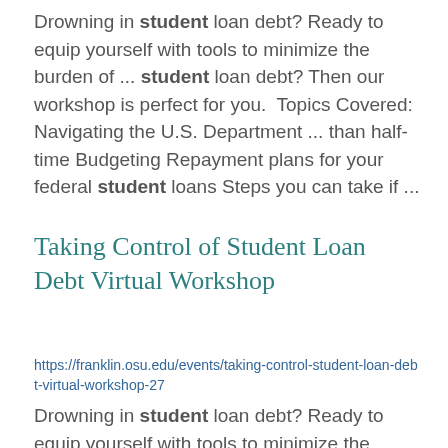Drowning in student loan debt? Ready to equip yourself with tools to minimize the burden of ... student loan debt? Then our workshop is perfect for you.  Topics Covered: Navigating the U.S. Department ... than half-time Budgeting Repayment plans for your federal student loans Steps you can take if ...
Taking Control of Student Loan Debt Virtual Workshop
https://franklin.osu.edu/events/taking-control-student-loan-debt-virtual-workshop-27
Drowning in student loan debt? Ready to equip yourself with tools to minimize the